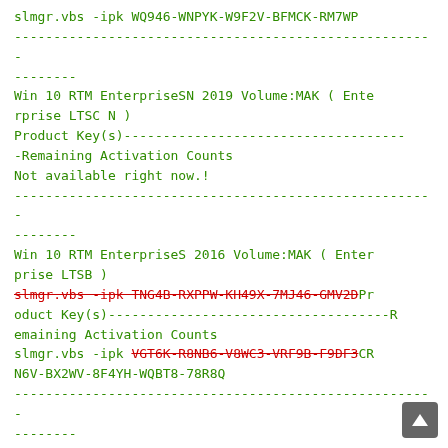slmgr.vbs -ipk WQ946-WNPYK-W9F2V-BFMCK-RM7WP
------------------------------------------------------
--------
Win 10 RTM EnterpriseSN 2019 Volume:MAK ( Enterprise LTSC N )
Product Key(s)-----------------------------------
-Remaining Activation Counts
Not available right now.!
------------------------------------------------------
--------
Win 10 RTM EnterpriseS 2016 Volume:MAK ( Enterprise LTSB )
slmgr.vbs -ipk TNG4B-RXPPW-KH49X-7MJ46-GMV2D (strikethrough red) Product Key(s)-----------------------------------R
emaining Activation Counts
slmgr.vbs -ipk VGT6K-R8NB6-V8WC3-VRF9B-F9DF3 (strikethrough red) CRN6V-BX2WV-8F4YH-WQBT8-78R8Q
------------------------------------------------------
--------
Win 10 RTM EnterpriseSN 2016 Volume:MAK ( Enterprise LTSB N )
Product Key(s)-----------------------------------
-Remaining Activation Counts